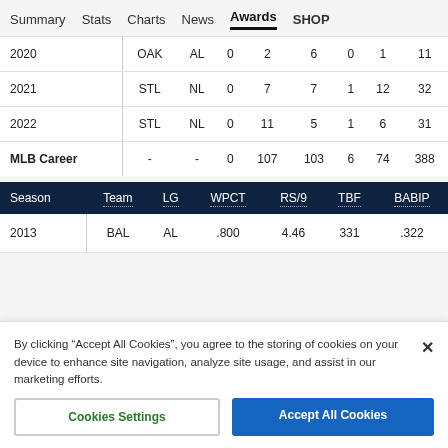Summary  Stats  Charts  News  Awards  SHOP
|  |  |  |  |  |  |  |  |  |
| --- | --- | --- | --- | --- | --- | --- | --- | --- |
| 2020 | OAK | AL | 0 | 2 | 6 | 0 | 1 | 11 |
| 2021 | STL | NL | 0 | 7 | 7 | 1 | 12 | 32 |
| 2022 | STL | NL | 0 | 11 | 5 | 1 | 6 | 31 |
| MLB Career | - | - | 0 | 107 | 103 | 6 | 74 | 388 |
| Season | Team | LG | WPCT | RS/9 | TBF | BABIP |
| --- | --- | --- | --- | --- | --- | --- |
| 2013 | BAL | AL | .800 | 4.46 | 331 | .322 |
By clicking “Accept All Cookies”, you agree to the storing of cookies on your device to enhance site navigation, analyze site usage, and assist in our marketing efforts.
Cookies Settings  Accept All Cookies